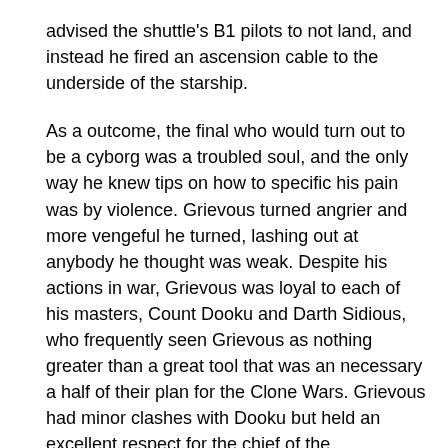advised the shuttle's B1 pilots to not land, and instead he fired an ascension cable to the underside of the starship.
As a outcome, the final who would turn out to be a cyborg was a troubled soul, and the only way he knew tips on how to specific his pain was by violence. Grievous turned angrier and more vengeful he turned, lashing out at anybody he thought was weak. Despite his actions in war, Grievous was loyal to each of his masters, Count Dooku and Darth Sidious, who frequently seen Grievous as nothing greater than a great tool that was an necessary a half of their plan for the Clone Wars. Grievous had minor clashes with Dooku but held an excellent respect for the chief of the Confederacy, who assisted him in his coaching and whose orders the final would comply with. He shared his master's confidence, similar to when Dooku knowledgeable him of Savage Opress's rising energy, to which Grievous simply laughed at